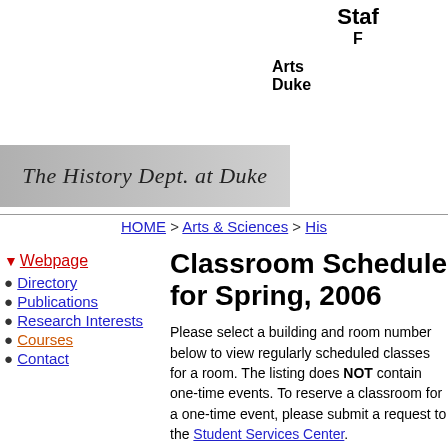Staff

Arts
Duke
[Figure (logo): The History Dept. at Duke - gray banner with italic serif text]
HOME > Arts & Sciences > His
▼ Webpage
● Directory
● Publications
● Research Interests
● Courses
● Contact
Classroom Schedule for Spring, 2006
Please select a building and room number below to view regularly scheduled classes for a room. The listing does NOT contain one-time events. To reserve a classroom for a one-time event, please submit a request to the Student Services Center.
Perkins [dropdown] | Choose A Classroom [dropdown]
Classes regularly scheduled in Perkins 2 for Spring, 2006
| Day |  |
| --- | --- |
| MON |  |
| TUES |  |
| WED |  |